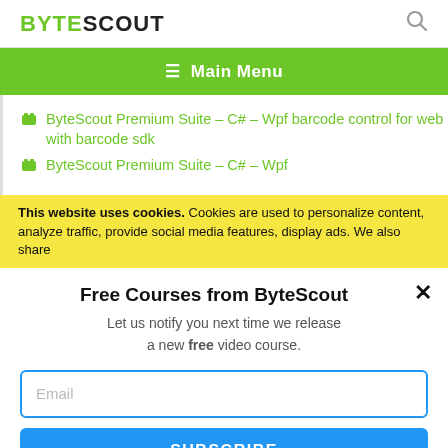BYTESCOUT
ByteScout Premium Suite – C# – Wpf barcode control for web with barcode sdk
ByteScout Premium Suite – C# – Wpf
This website uses cookies. Cookies are used to personalize content, analyze traffic, provide social media features, display ads. We also share
Free Courses from ByteScout
Let us notify you next time we release a new free video course.
Email
SUBSCRIBE